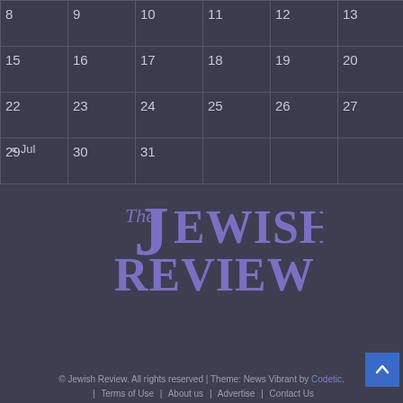| 8 | 9 | 10 | 11 | 12 | 13 | 14 |
| 15 | 16 | 17 | 18 | 19 | 20 | 21 |
| 22 | 23 | 24 | 25 | 26 | 27 | 28 |
| 29 | 30 | 31 |  |  |  |  |
« Jul
[Figure (logo): The Jewish Review logo in purple serif font on dark background]
© Jewish Review. All rights reserved | Theme: News Vibrant by Codetic. | Terms of Use | About us | Advertise | Contact Us